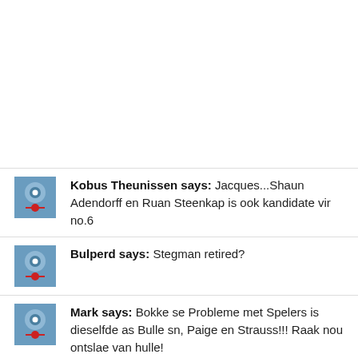Kobus Theunissen says: Jacques...Shaun Adendorff en Ruan Steenkap is ook kandidate vir no.6
Bulperd says: Stegman retired?
Mark says: Bokke se Probleme met Spelers is dieselfde as Bulle sn, Paige en Strauss!!! Raak nou ontslae van hulle!